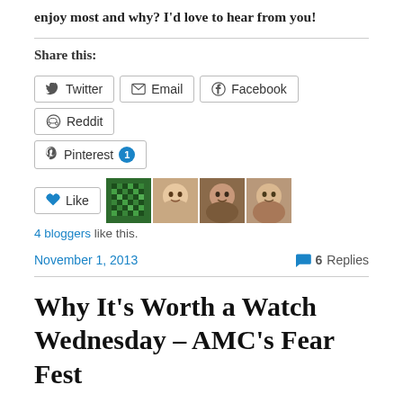enjoy most and why?  I'd love to hear from you!
Share this:
Twitter  Email  Facebook  Reddit  Pinterest 1
Like  4 bloggers like this.
November 1, 2013   6 Replies
Why It's Worth a Watch Wednesday – AMC's Fear Fest
October is one of my favorite months.  First of all, football